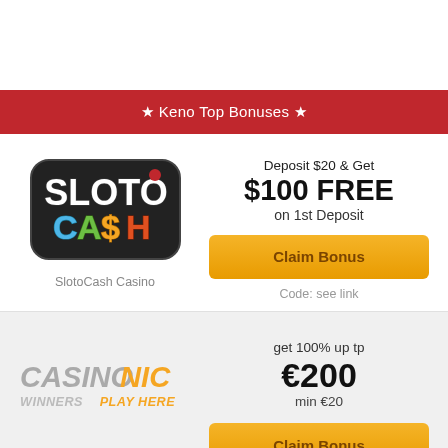★ Keno Top Bonuses ★
[Figure (logo): SlotoCash Casino logo - colorful stylized text with SLOTO on top and CASH on bottom with a dollar sign]
SlotoCash Casino
Deposit $20 & Get
$100 FREE
on 1st Deposit
Claim Bonus
Code: see link
[Figure (logo): CasinoNic logo - CASINO in gray italic bold, NIC in orange italic bold, WINNERS PLAY HERE below in gray and orange italic]
get 100% up tp
€200
min €20
Claim Bonus